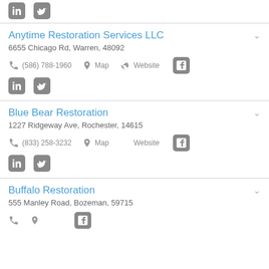Partial social icons row (LinkedIn, Twitter)
Anytime Restoration Services LLC
6655 Chicago Rd, Warren, 48092
(586) 788-1960  Map  Website  Facebook  LinkedIn  Twitter
Blue Bear Restoration
1227 Ridgeway Ave, Rochester, 14615
(833) 258-3232  Map  Website  Facebook  LinkedIn  Twitter
Buffalo Restoration
555 Manley Road, Bozeman, 59715
Partial contact row (phone, map, website, facebook)